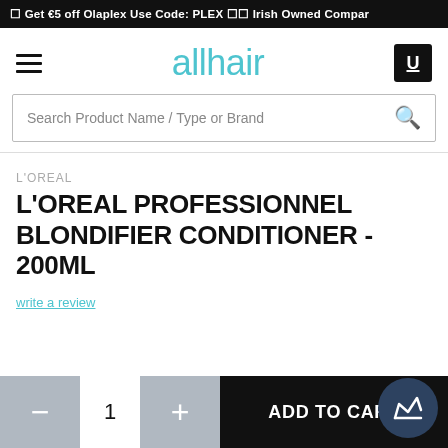☐ Get €5 off Olaplex Use Code: PLEX ☐☐ Irish Owned Compar
[Figure (logo): allhair logo in teal/cyan color with hamburger menu icon on left and cart icon on right]
Search Product Name / Type or Brand
L'OREAL
L'OREAL PROFESSIONNEL BLONDIFIER CONDITIONER - 200ML
write a review
— 1 + ADD TO CART